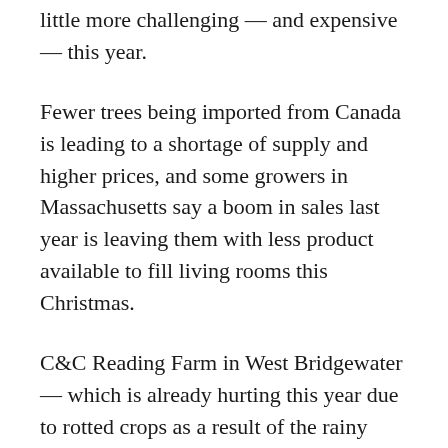little more challenging — and expensive — this year.
Fewer trees being imported from Canada is leading to a shortage of supply and higher prices, and some growers in Massachusetts say a boom in sales last year is leaving them with less product available to fill living rooms this Christmas.
C&C Reading Farm in West Bridgewater — which is already hurting this year due to rotted crops as a result of the rainy summer — usually stays open into December to sell Christmas trees, which are brought in from Canada.